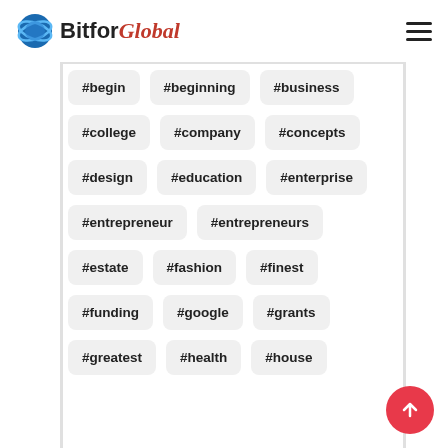BitforGlobal
#begin
#beginning
#business
#college
#company
#concepts
#design
#education
#enterprise
#entrepreneur
#entrepreneurs
#estate
#fashion
#finest
#funding
#google
#grants
#greatest
#health
#house